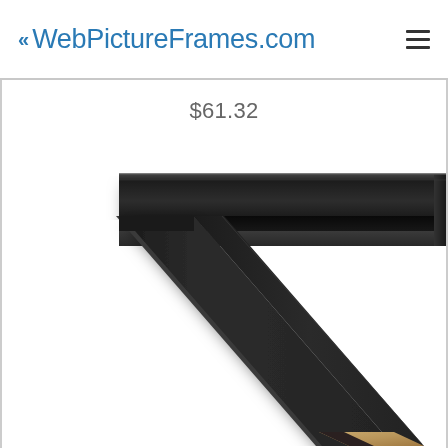<< WebPictureFrames.com
$61.32
[Figure (photo): Close-up photo of a matte black picture frame corner piece showing L-shaped profile with wide flat top rail and angled side, viewed from a perspective angle. The frame has a deep black finish with subtle texture and a small wood/material cross-section visible at the bottom cut end.]